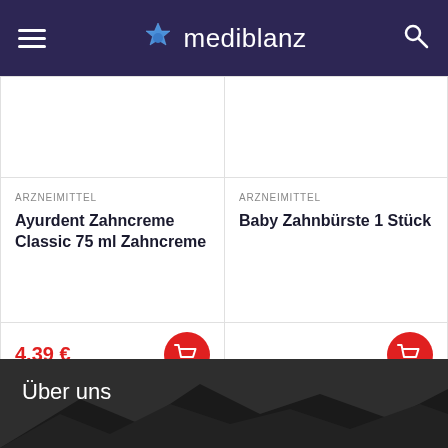mediblanz
ARZNEIMITTEL
Ayurdent Zahncreme Classic 75 ml Zahncreme
4.39 €
ARZNEIMITTEL
Baby Zahnbürste 1 Stück
1  2  3  4  ...  22  23  24  →
Über uns